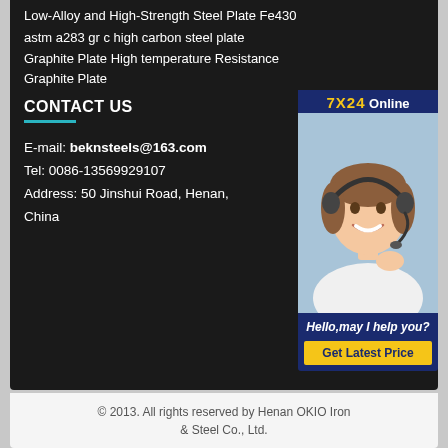Low-Alloy and High-Strength Steel Plate Fe430
astm a283 gr c high carbon steel plate
Graphite Plate High temperature Resistance Graphite Plate
CONTACT US
E-mail: beknsteels@163.com
Tel: 0086-13569929107
Address: 50 Jinshui Road, Henan, China
[Figure (photo): Customer service representative wearing headset, smiling, with 7X24 Online chat widget and 'Hello,may I help you?' message and 'Get Latest Price' button]
© 2013. All rights reserved by Henan OKIO Iron & Steel Co., Ltd.